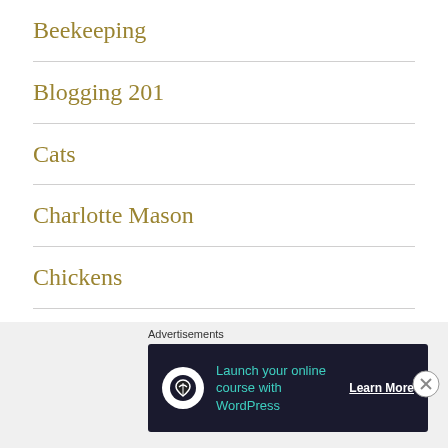Beekeeping
Blogging 201
Cats
Charlotte Mason
Chickens
Christmas
Crafts
[Figure (screenshot): Advertisement banner: 'Launch your online course with WordPress' with a Learn More button, on dark background with a tree/cloud icon.]